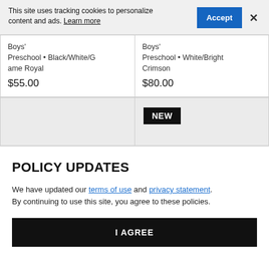This site uses tracking cookies to personalize content and ads. Learn more
Boys' Preschool • Black/White/Game Royal
$55.00
Boys' Preschool • White/Bright Crimson
$80.00
[Figure (other): Empty product card image placeholder with light gray background]
[Figure (other): Product card image placeholder with 'NEW' badge on dark background]
POLICY UPDATES
We have updated our terms of use and privacy statement. By continuing to use this site, you agree to these policies.
I AGREE